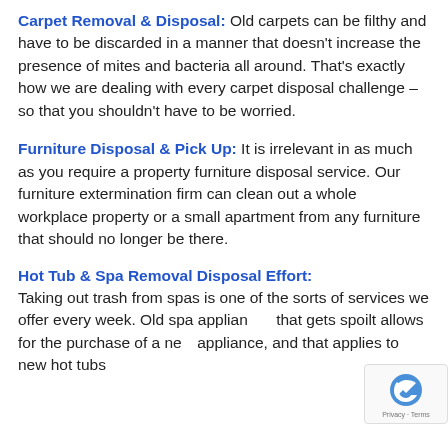Carpet Removal & Disposal: Old carpets can be filthy and have to be discarded in a manner that doesn't increase the presence of mites and bacteria all around. That's exactly how we are dealing with every carpet disposal challenge – so that you shouldn't have to be worried.
Furniture Disposal & Pick Up: It is irrelevant in as much as you require a property furniture disposal service. Our furniture extermination firm can clean out a whole workplace property or a small apartment from any furniture that should no longer be there.
Hot Tub & Spa Removal Disposal Effort:
Taking out trash from spas is one of the sorts of services we offer every week. Old spa appliances that gets spoilt allows for the purchase of a new appliance, and that applies to new hot tubs